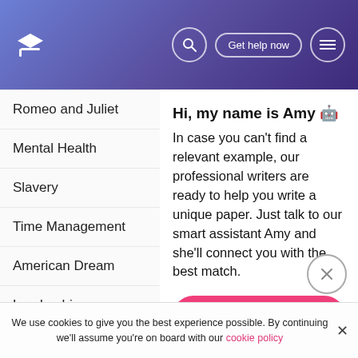[Figure (screenshot): Website header with gradient purple background, graduation cap logo, search icon, 'Get help now' button, and hamburger menu icon]
Romeo and Juliet
Mental Health
Slavery
Time Management
American Dream
Leadership
Friendship
Global Warming
Racial Profiling
Hi, my name is Amy 🤖
In case you can't find a relevant example, our professional writers are ready to help you write a unique paper. Just talk to our smart assistant Amy and she'll connect you with the best match.
Get help with your paper
We use cookies to give you the best experience possible. By continuing we'll assume you're on board with our cookie policy